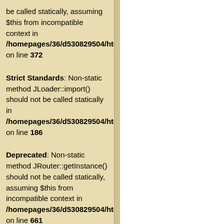be called statically, assuming $this from incompatible context in /homepages/36/d530829504/htdocs on line 372
Strict Standards: Non-static method JLoader::import() should not be called statically in /homepages/36/d530829504/htdocs on line 186
Deprecated: Non-static method JRouter::getInstance() should not be called statically, assuming $this from incompatible context in /homepages/36/d530829504/htdocs on line 661
Deprecated: Non-static method JError::isError() should not be called statically, assuming $this from incompatible context in /homepages/36/d530829504/htdocs on line 662
Deprecated: Non-static method JSite::getMenu() should not be called statically, assuming $this from incompatible context in